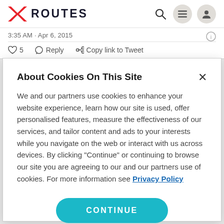ROUTES
3:35 AM · Apr 6, 2015
♡ 5   Reply   Copy link to Tweet
About Cookies On This Site
We and our partners use cookies to enhance your website experience, learn how our site is used, offer personalised features, measure the effectiveness of our services, and tailor content and ads to your interests while you navigate on the web or interact with us across devices. By clicking "Continue" or continuing to browse our site you are agreeing to our and our partners use of cookies. For more information see Privacy Policy
CONTINUE